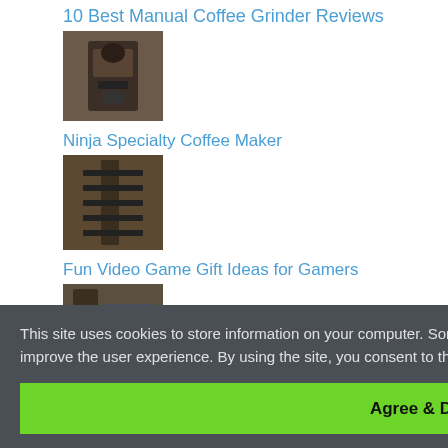10 Best Manual Coffee Grinder Reviews
[Figure (photo): Thumbnail image of a coffee maker]
Ninja Specialty Coffee Maker
[Figure (photo): Thumbnail image of a coffee grinder]
Fun Video Game Gift Ideas for Gamers
[Figure (photo): Thumbnail image related to food smoker]
How to Choose the Best Food Smoker According to Your Needs
This site uses cookies to store information on your computer. Some are essential to make our site work; others help us improve the user experience. By using the site, you consent to the placement of these cookies.
Agree & Dismiss
[Figure (photo): Thumbnail image at bottom of page]